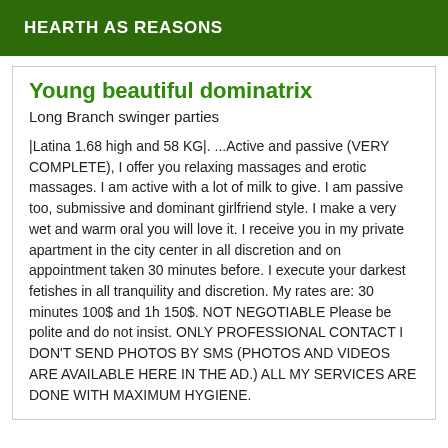HEARTH AS REASONS
Young beautiful dominatrix
Long Branch swinger parties
|Latina 1.68 high and 58 KG|. ...Active and passive (VERY COMPLETE), I offer you relaxing massages and erotic massages. I am active with a lot of milk to give. I am passive too, submissive and dominant girlfriend style. I make a very wet and warm oral you will love it. I receive you in my private apartment in the city center in all discretion and on appointment taken 30 minutes before. I execute your darkest fetishes in all tranquility and discretion. My rates are: 30 minutes 100$ and 1h 150$. NOT NEGOTIABLE Please be polite and do not insist. ONLY PROFESSIONAL CONTACT I DON'T SEND PHOTOS BY SMS (PHOTOS AND VIDEOS ARE AVAILABLE HERE IN THE AD.) ALL MY SERVICES ARE DONE WITH MAXIMUM HYGIENE.